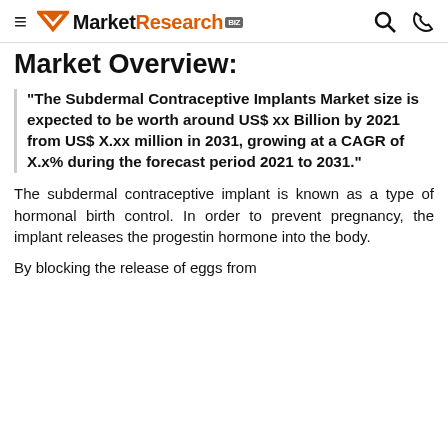MarketResearch.biz
Market Overview:
“The Subdermal Contraceptive Implants Market size is expected to be worth around US$ xx Billion by 2021 from US$ X.xx million in 2031, growing at a CAGR of X.x% during the forecast period 2021 to 2031.”
The subdermal contraceptive implant is known as a type of hormonal birth control. In order to prevent pregnancy, the implant releases the progestin hormone into the body.
By blocking the release of eggs from